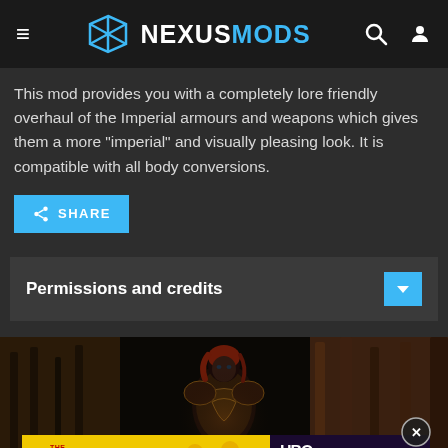NEXUSMODS
This mod provides you with a completely lore friendly overhaul of the Imperial armours and weapons which gives them a more "imperial" and visually pleasing look. It is compatible with all body conversions.
SHARE
Permissions and credits
[Figure (screenshot): In-game screenshot showing a female character wearing ornate Imperial armour in a dark wooden interior environment. An advertisement banner for Bob's Burgers Movie and HBO Max appears at the bottom.]